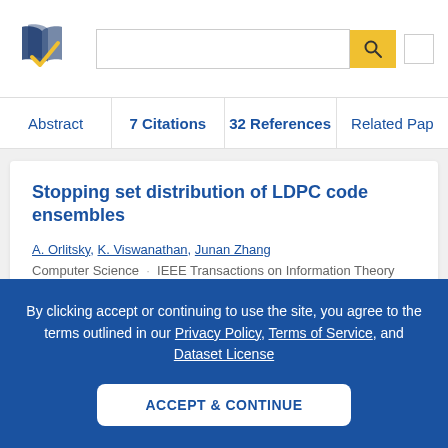[Figure (logo): Semantic Scholar logo — stylized book pages with navy and gold checkmark]
Abstract | 7 Citations | 32 References | Related Papers
Stopping set distribution of LDPC code ensembles
A. Orlitsky, K. Viswanathan, Junan Zhang
Computer Science · IEEE Transactions on Information Theory · 2005
By clicking accept or continuing to use the site, you agree to the terms outlined in our Privacy Policy, Terms of Service, and Dataset License
ACCEPT & CONTINUE